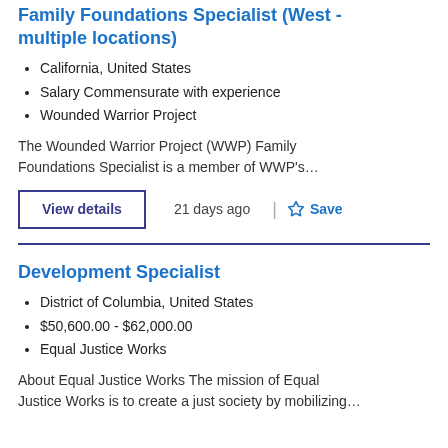Family Foundations Specialist (West - multiple locations)
California, United States
Salary Commensurate with experience
Wounded Warrior Project
The Wounded Warrior Project (WWP) Family Foundations Specialist is a member of WWP's…
View details   21 days ago   Save
Development Specialist
District of Columbia, United States
$50,600.00 - $62,000.00
Equal Justice Works
About Equal Justice Works The mission of Equal Justice Works is to create a just society by mobilizing…